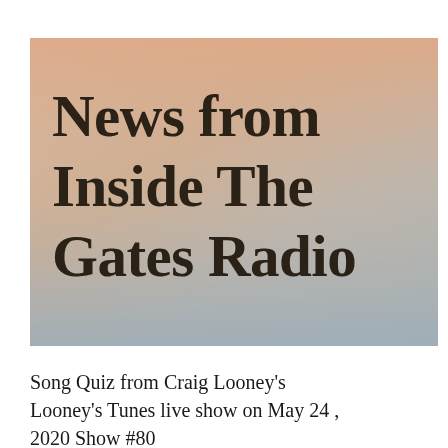[Figure (illustration): Gradient background image with warm peach/orange tones blending into soft blue-grey at the bottom. Text reads 'News from Inside The Gates Radio' in large bold serif font in dark brown/black color.]
Song Quiz from Craig Looney's Looney's Tunes live show on May 24 , 2020 Show #80